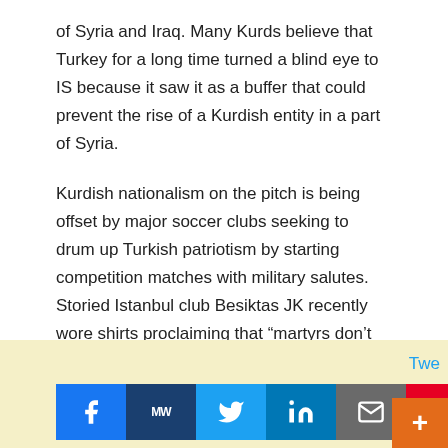of Syria and Iraq. Many Kurds believe that Turkey for a long time turned a blind eye to IS because it saw it as a buffer that could prevent the rise of a Kurdish entity in a part of Syria.
Kurdish nationalism on the pitch is being offset by major soccer clubs seeking to drum up Turkish patriotism by starting competition matches with military salutes. Storied Istanbul club Besiktas JK recently wore shirts proclaiming that “martyrs don’t die,” a reference to scores of Turkish soldiers that have died in attacks by and clashes with the outlawed Kurdistan Workers’ Party (PKK).
[Figure (other): Social media sharing bar with buttons for Facebook, MeWe, Twitter, LinkedIn, Email, Pinterest, Reddit, Mix, WhatsApp, and a plus button. Tweet label visible at top right.]